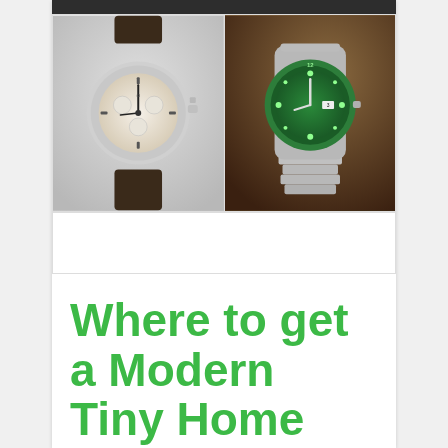[Figure (photo): Two watch photographs side by side: left shows a vintage Omega chronograph with cream dial and brown leather strap; right shows a modern Rolex Submariner with green bezel and green dial on bracelet.]
Where to get a Modern Tiny Home